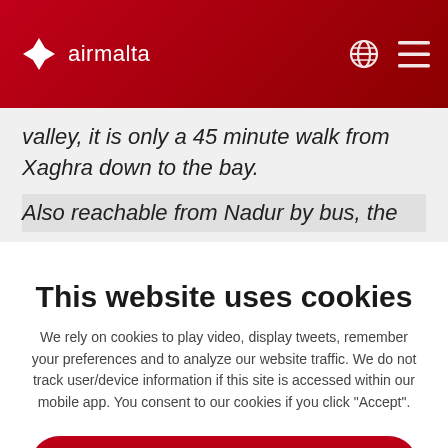[Figure (logo): Air Malta logo with white Maltese cross and 'airmalta' text on red header, with globe and hamburger menu icons]
valley, it is only a 45 minute walk from Xaghra down to the bay.
Also reachable from Nadur by bus, the
This website uses cookies
We rely on cookies to play video, display tweets, remember your preferences and to analyze our website traffic. We do not track user/device information if this site is accessed within our mobile app. You consent to our cookies if you click "Accept".
Accept
Cookie policy